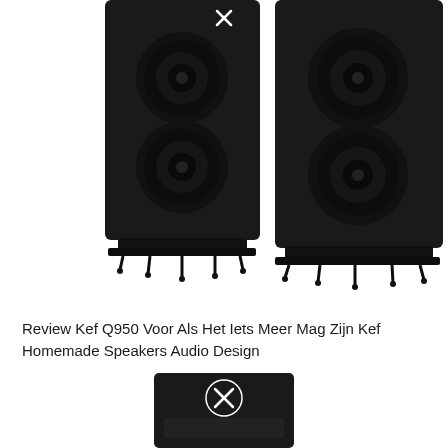[Figure (photo): Two tall black floor-standing KEF Q950 speakers side by side, each with two circular woofers on their front baffles, mounted on spiked bases. Both speakers have a small circular close icon overlay near the top center area between them. White background.]
Review Kef Q950 Voor Als Het Iets Meer Mag Zijn Kef Homemade Speakers Audio Design
[Figure (photo): Partial view of a smaller black bookshelf or center speaker at the bottom center of the page, with a circular close icon overlay on its front baffle.]